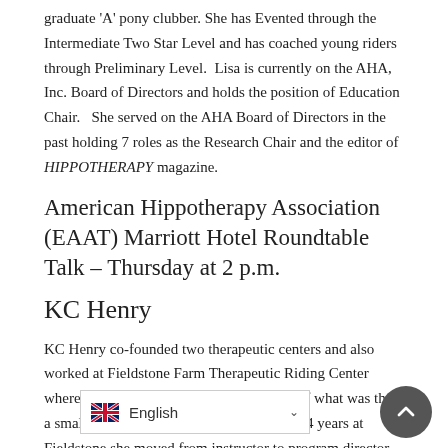graduate 'A' pony clubber. She has Evented through the Intermediate Two Star Level and has coached young riders through Preliminary Level. Lisa is currently on the AHA, Inc. Board of Directors and holds the position of Education Chair. She served on the AHA Board of Directors in the past holding 7 roles as the Research Chair and the editor of HIPPOTHERAPY magazine.
American Hippotherapy Association (EAAT) Marriott Hotel Roundtable Talk – Thursday at 2 p.m.
KC Henry
KC Henry co-founded two therapeutic centers and also worked at Fieldstone Farm Therapeutic Riding Center where she was the first paid staff member of what was then a small all-volunteer program. During her 14 years at Fieldstone she moved from instructor to program director to Ex... leadership Fieldstone Farm completed a $... ilt a state-of-the-art therapeutic riding